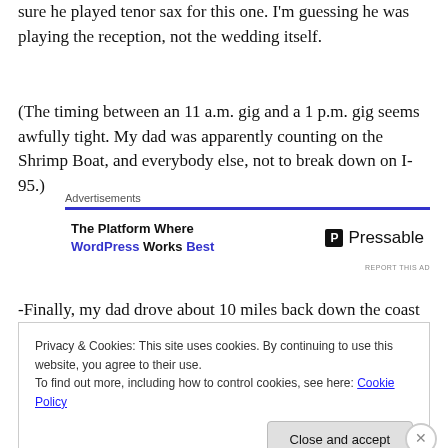sure he played tenor sax for this one. I'm guessing he was playing the reception, not the wedding itself.
(The timing between an 11 a.m. gig and a 1 p.m. gig seems awfully tight. My dad was apparently counting on the Shrimp Boat, and everybody else, not to break down on I-95.)
[Figure (other): Advertisement banner: 'The Platform Where WordPress Works Best' with Pressable logo]
-Finally, my dad drove about 10 miles back down the coast
Privacy & Cookies: This site uses cookies. By continuing to use this website, you agree to their use.
To find out more, including how to control cookies, see here: Cookie Policy